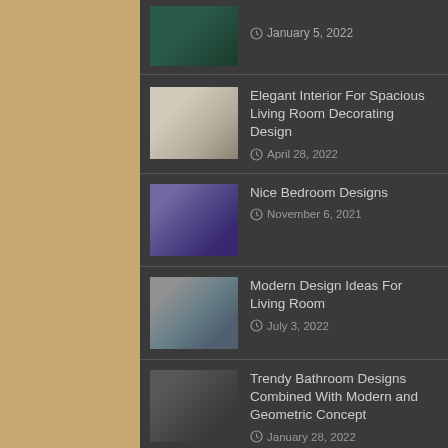January 5, 2022
Elegant Interior For Spacious Living Room Decorating Design
April 28, 2022
Nice Bedroom Designs
November 6, 2021
Modern Design Ideas For Living Room
July 3, 2022
Trendy Bathroom Designs Combined With Modern and Geometric Concept
January 28, 2022
Modern Style For Bedroom Design With Spanish Colonial